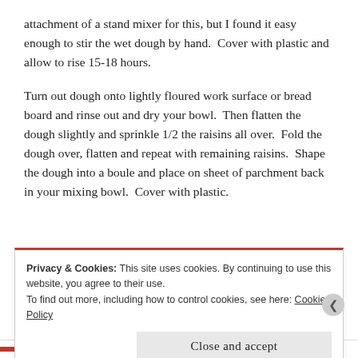attachment of a stand mixer for this, but I found it easy enough to stir the wet dough by hand.  Cover with plastic and allow to rise 15-18 hours.
Turn out dough onto lightly floured work surface or bread board and rinse out and dry your bowl.  Then flatten the dough slightly and sprinkle 1/2 the raisins all over.  Fold the dough over, flatten and repeat with remaining raisins.  Shape the dough into a boule and place on sheet of parchment back in your mixing bowl.  Cover with plastic.
Privacy & Cookies: This site uses cookies. By continuing to use this website, you agree to their use.
To find out more, including how to control cookies, see here: Cookie Policy
Close and accept